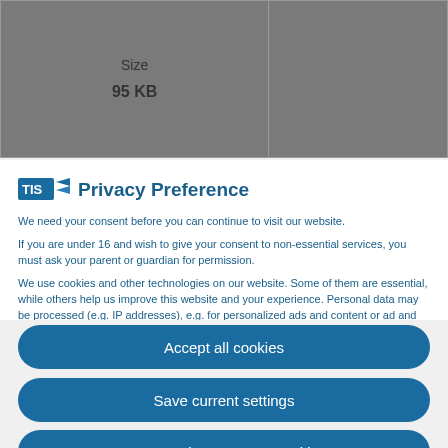| Size |
| --- |
| 95 KB |
Privacy Preference
We need your consent before you can continue to visit our website.
If you are under 16 and wish to give your consent to non-essential services, you must ask your parent or guardian for permission.
We use cookies and other technologies on our website. Some of them are essential, while others help us improve this website and your experience. Personal data may be processed (e.g. IP addresses), e.g. for personalized ads and content or ad and content measurement. For more information about how we use your data, please see our Privacy Policy. You can revoke or adjust your selection at any time under Preferences.
Essential (checked)
Statistics (unchecked)
External Media (unchecked)
Accept all cookies
Save current settings
Accept only necessary cookies